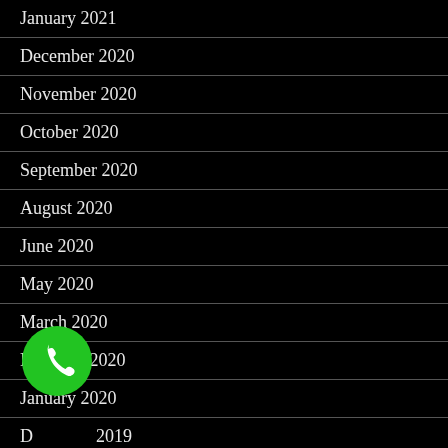January 2021
December 2020
November 2020
October 2020
September 2020
August 2020
June 2020
May 2020
March 2020
February 2020
January 2020
December 2019
November 2019
[Figure (illustration): Green circular phone/call button icon overlapping the December 2019 list item]